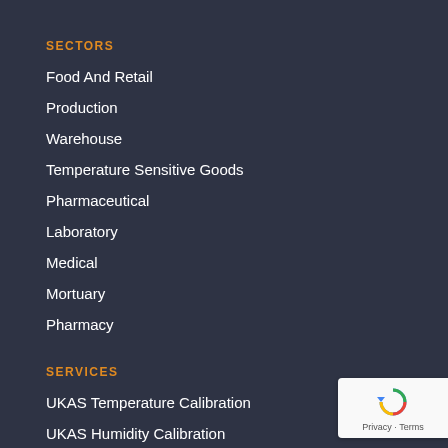SECTORS
Food And Retail
Production
Warehouse
Temperature Sensitive Goods
Pharmaceutical
Laboratory
Medical
Mortuary
Pharmacy
SERVICES
UKAS Temperature Calibration
UKAS Humidity Calibration
UKAS Onsite Temperature Calibration
Temperature Mapping